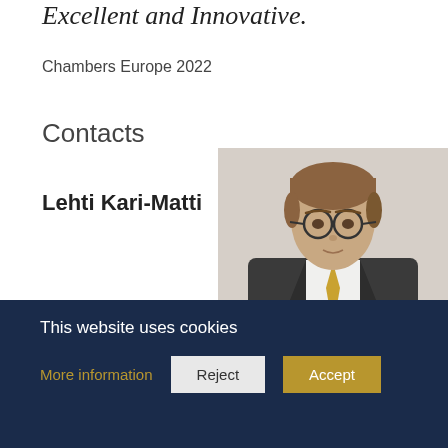Excellent and Innovative.
Chambers Europe 2022
Contacts
Lehti Kari-Matti
[Figure (photo): Professional headshot of Lehti Kari-Matti, a middle-aged man wearing glasses, a dark suit jacket, white shirt, and golden/yellow tie, with short brown hair.]
This website uses cookies
More information
Reject
Accept